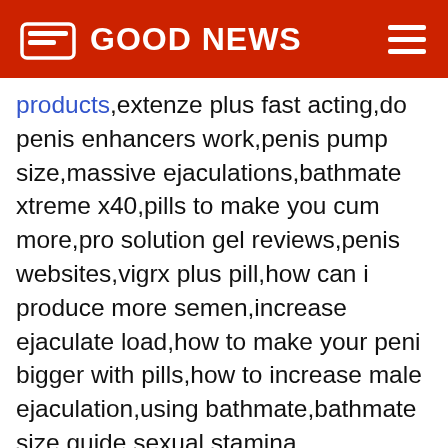GOOD NEWS
products,extenze plus fast acting,do penis enhancers work,penis pump size,massive ejaculations,bathmate xtreme x40,pills to make you cum more,pro solution gel reviews,penis websites,vigrx plus pill,how can i produce more semen,increase ejaculate load,how to make your peni bigger with pills,how to increase male ejaculation,using bathmate,bathmate size guide,sexual stamina supplements,how to use hydromax,increase volume of ejaculate,increase semen amount,bathmate hercules review,where can i buy vigrx plus,bathmate testimonials,penis traction